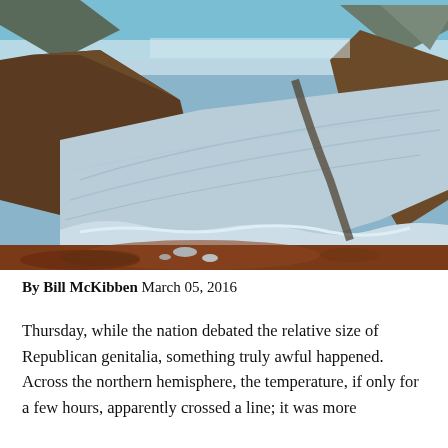[Figure (photo): Aerial photograph of a large glacier flowing between rocky mountains, with blue-white ice spreading out toward a shoreline with reddish-brown rocky terrain at the bottom, mountains visible in the background under a blue sky with scattered clouds.]
By Bill McKibben March 05, 2016
Thursday, while the nation debated the relative size of Republican genitalia, something truly awful happened. Across the northern hemisphere, the temperature, if only for a few hours, apparently crossed a line; it was more